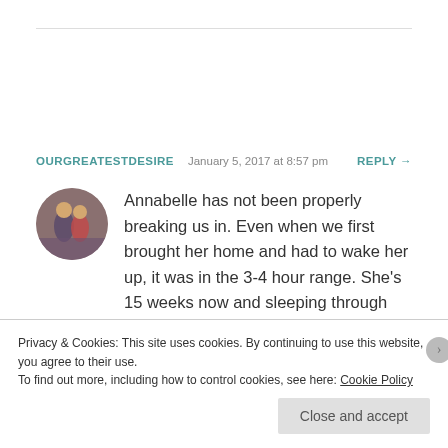OURGREATESTDESIRE  January 5, 2017 at 8:57 pm  REPLY →
[Figure (photo): Circular avatar photo of two children]
Annabelle has not been properly breaking us in. Even when we first brought her home and had to wake her up, it was in the 3-4 hour range. She's 15 weeks now and sleeping through the night but she's also been getting rice cereal since 8 weeks so we cheated a little, lol. It also helped
Privacy & Cookies: This site uses cookies. By continuing to use this website, you agree to their use.
To find out more, including how to control cookies, see here: Cookie Policy
Close and accept